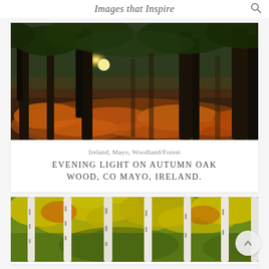Images that Inspire
[Figure (photo): Autumn oak woodland at evening with warm golden sunlight filtering through dark tree trunks over orange bracken ferns, Co Mayo, Ireland.]
Ireland, Mayo, Woodland/Forest
EVENING LIGHT ON AUTUMN OAK WOOD, CO MAYO, IRELAND.
[Figure (photo): Birch trees with bright yellow, orange and green autumn foliage in a dense forest.]